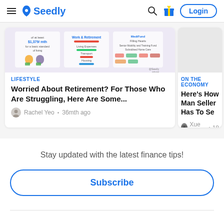Seedly — Login
[Figure (screenshot): Retirement article thumbnail showing infographic about retirement costs and support schemes]
LIFESTYLE
Worried About Retirement? For Those Who Are Struggling, Here Are Some...
Rachel Yeo • 36mth ago
ON THE ECONOMY
Here's How Man Seller Has To Se
Xue Miao • 18
Stay updated with the latest finance tips!
Subscribe